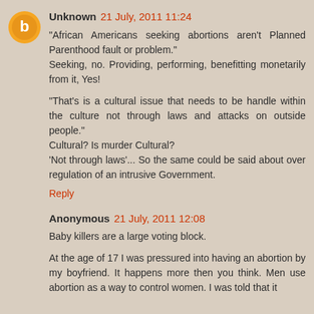Unknown 21 July, 2011 11:24
"African Americans seeking abortions aren't Planned Parenthood fault or problem."
Seeking, no. Providing, performing, benefitting monetarily from it, Yes!

"That's is a cultural issue that needs to be handle within the culture not through laws and attacks on outside people."
Cultural? Is murder Cultural?
'Not through laws'... So the same could be said about over regulation of an intrusive Government.
Reply
Anonymous 21 July, 2011 12:08
Baby killers are a large voting block.

At the age of 17 I was pressured into having an abortion by my boyfriend. It happens more then you think. Men use abortion as a way to control women. I was told that it